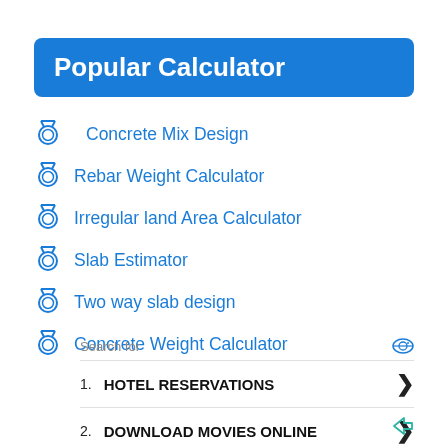Popular Calculator
Concrete Mix Design
Rebar Weight Calculator
Irregular land Area Calculator
Slab Estimator
Two way slab design
Concrete Weight Calculator
Search for
1. HOTEL RESERVATIONS
2. DOWNLOAD MOVIES ONLINE